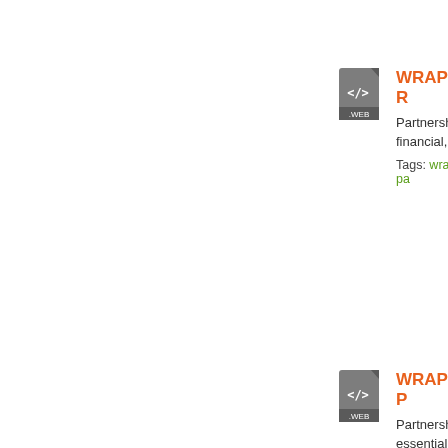[Figure (illustration): Web file icon (grey document with </> and .WEB label)]
WRAP - R
Partnerships financial, so
Tags: wrap | pa
[Figure (illustration): Web file icon (grey document with </> and .WEB label)]
WRAP - P
Partnerships essential to
Tags: wrap | en
[Figure (illustration): PDF file icon (red document with PDF label)]
EAUC Fair
Read all abo trade.
Tags: fairtrade
[Figure (illustration): Web file icon (grey document with </> and .WEB label)]
Member S